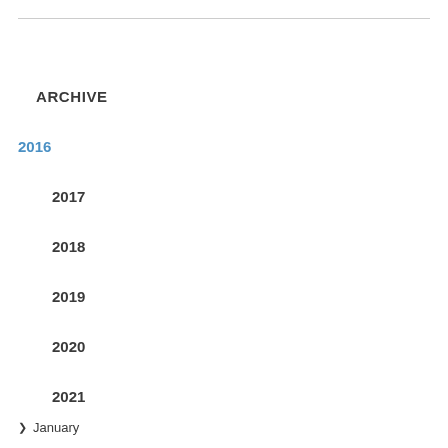ARCHIVE
2016
2017
2018
2019
2020
2021
2022
January